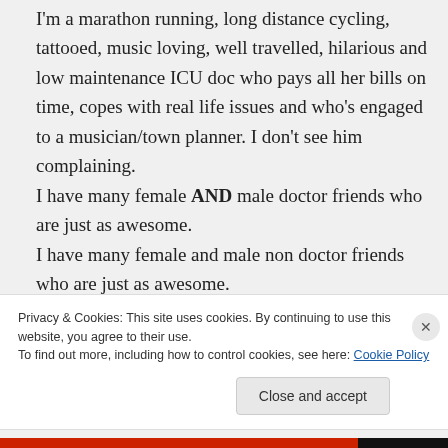I'm a marathon running, long distance cycling, tattooed, music loving, well travelled, hilarious and low maintenance ICU doc who pays all her bills on time, copes with real life issues and who's engaged to a musician/town planner. I don't see him complaining.
I have many female AND male doctor friends who are just as awesome.
I have many female and male non doctor friends who are just as awesome.
Privacy & Cookies: This site uses cookies. By continuing to use this website, you agree to their use.
To find out more, including how to control cookies, see here: Cookie Policy
Close and accept